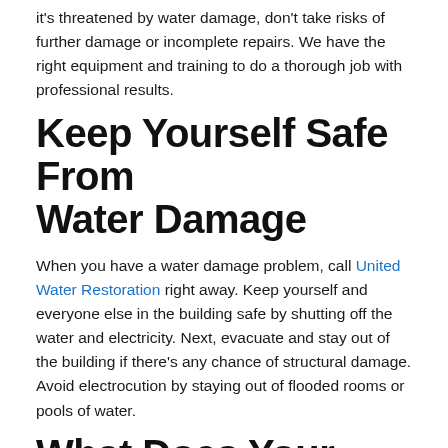it's threatened by water damage, don't take risks of further damage or incomplete repairs. We have the right equipment and training to do a thorough job with professional results.
Keep Yourself Safe From Water Damage
When you have a water damage problem, call United Water Restoration right away. Keep yourself and everyone else in the building safe by shutting off the water and electricity. Next, evacuate and stay out of the building if there's any chance of structural damage. Avoid electrocution by staying out of flooded rooms or pools of water.
What Does Your Water Damage Insurance Cover?
Homeowner's insurance policies don't cover all forms of water damage. For example, your policy may cover accidental or sudden damages but may not cover flooding from heavy rainfall.